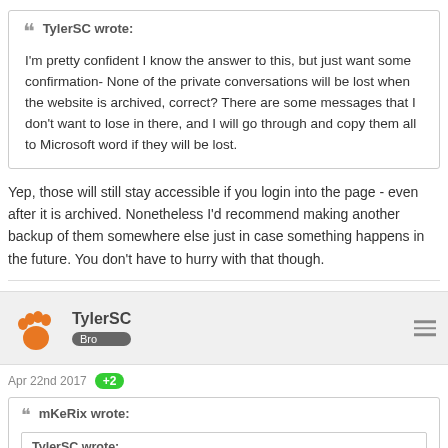TylerSC wrote: I'm pretty confident I know the answer to this, but just want some confirmation- None of the private conversations will be lost when the website is archived, correct? There are some messages that I don't want to lose in there, and I will go through and copy them all to Microsoft word if they will be lost.
Yep, those will still stay accessible if you login into the page - even after it is archived. Nonetheless I'd recommend making another backup of them somewhere else just in case something happens in the future. You don't have to hurry with that though.
TylerSC Bro
Apr 22nd 2017 +2
mKeRix wrote: TylerSC wrote: